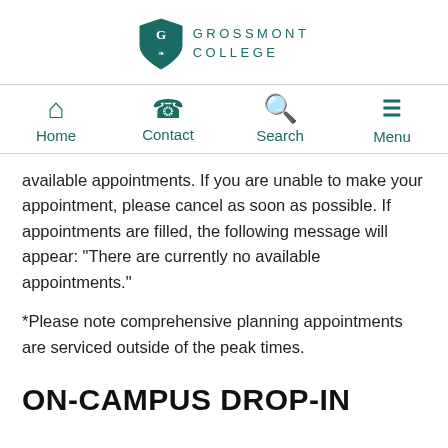[Figure (logo): Grossmont College logo with shield and text]
[Figure (infographic): Navigation bar with Home, Contact, Search, Menu icons in teal]
available appointments. If you are unable to make your appointment, please cancel as soon as possible. If appointments are filled, the following message will appear: "There are currently no available appointments."
*Please note comprehensive planning appointments are serviced outside of the peak times.
ON-CAMPUS DROP-IN